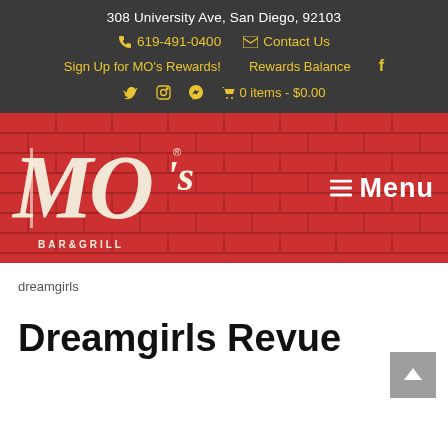308 University Ave, San Diego, 92103
📞 619-491-0400  ✉ Contact Us
Sign Up for MO's Rewards!  Rewards Balance  f
🐦  Instagram  Yelp  🛒 0 items - $0.00
[Figure (logo): MO's Bar & Grill logo in cream/white italic lettering on red background with brick texture pattern and Menu navigation button]
dreamgirls
Dreamgirls Revue